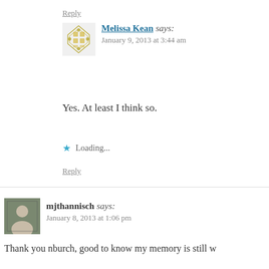Reply
Melissa Kean says:
January 9, 2013 at 3:44 am
Yes. At least I think so.
Loading...
Reply
mjthannisch says:
January 8, 2013 at 1:06 pm
Thank you nburch, good to know my memory is still w
Loading...
Reply